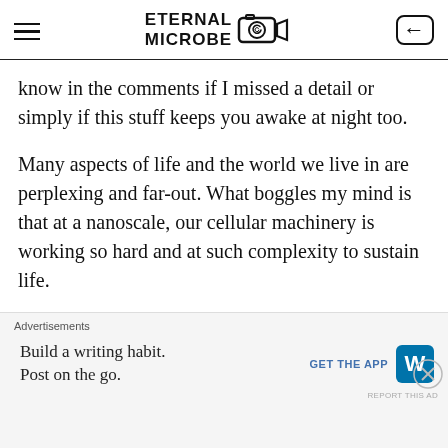ETERNAL MICROBE
know in the comments if I missed a detail or simply if this stuff keeps you awake at night too.
Many aspects of life and the world we live in are perplexing and far-out. What boggles my mind is that at a nanoscale, our cellular machinery is working so hard and at such complexity to sustain life.
Whether you are a molecular materialist confident in the purpose of life's fundamental components
[Figure (infographic): Advertisement banner: 'Build a writing habit. Post on the go.' with GET THE APP button and WordPress logo]